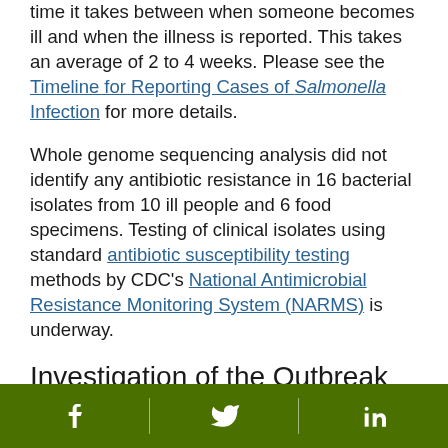time it takes between when someone becomes ill and when the illness is reported. This takes an average of 2 to 4 weeks. Please see the Timeline for Reporting Cases of Salmonella Infection for more details.
Whole genome sequencing analysis did not identify any antibiotic resistance in 16 bacterial isolates from 10 ill people and 6 food specimens. Testing of clinical isolates using standard antibiotic susceptibility testing methods by CDC's National Antimicrobial Resistance Monitoring System (NARMS) is underway.
Investigation of the Outbreak
Epidemiologic and laboratory evidence indicates that ground beef might be contaminated with
Facebook | Twitter | LinkedIn